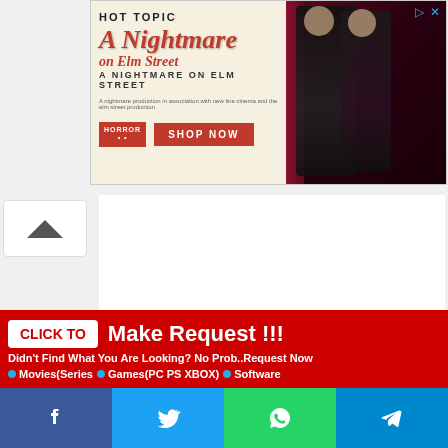[Figure (screenshot): Hot Topic advertisement banner for 'A Nightmare on Elm Street' merchandise with shop now button and two people wearing horror-themed clothing]
[Figure (screenshot): Red call-to-action banner saying 'CLICK TO Make Request !!!' with subtitle about finding content and category links for Movies/Series, Games (PC PS XBOX), Software]
[Figure (screenshot): Social media share bar with Facebook, Twitter, WhatsApp, and Telegram buttons]